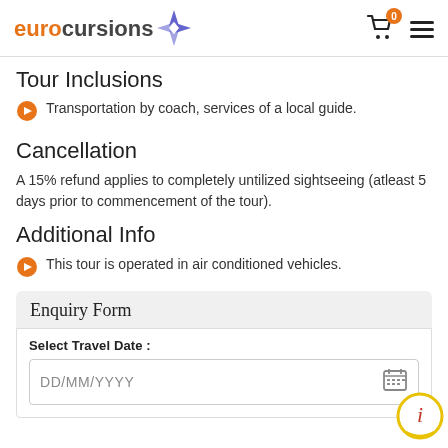eurocursions (logo with compass icon), cart with 0 items, hamburger menu
Tour Inclusions
Transportation by coach, services of a local guide.
Cancellation
A 15% refund applies to completely untilized sightseeing (atleast 5 days prior to commencement of the tour).
Additional Info
This tour is operated in air conditioned vehicles.
Enquiry Form
Select Travel Date :
DD/MM/YYYY